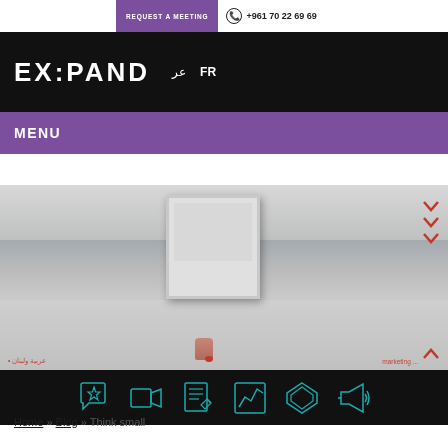REQUEST A MEETING  +961 70 22 69 69
EXPAND  عر  FR
MENU
[Figure (photo): Grayscale beach/sea background with a hand holding a Polaroid frame in the center. Red chevron arrows on the right side pointing down and an upward arrow at bottom right. Red Arabic and English text overlays at the bottom.]
[Figure (infographic): Black bar with six teal/cyan outline icons: speech bubble with star, video camera, document with pencil, chart/graph in frame, layered diamonds/cards, megaphone.]
Home » Blog » Think small